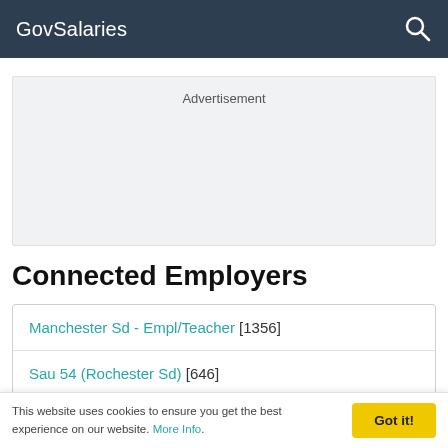GovSalaries
[Figure (other): Advertisement placeholder box with grey background]
Connected Employers
Manchester Sd - Empl/Teacher [1356]
Sau 54 (Rochester Sd) [646]
This website uses cookies to ensure you get the best experience on our website. More Info.